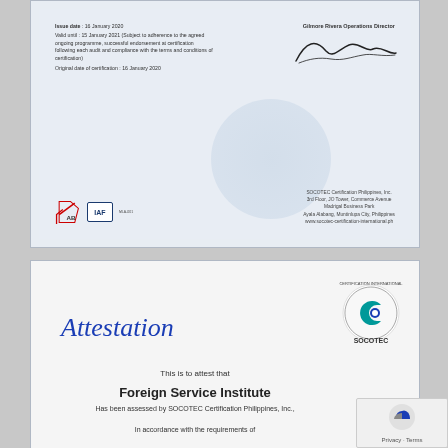[Figure (photo): Top portion of a SOCOTEC certification certificate showing issue date 16 January 2020, valid until 15 January 2021, signed by Gilmore Rivera Operations Director, with PAB and IAF logos, and SOCOTEC Certification Philippines Inc. address]
[Figure (photo): Bottom portion showing the beginning of a SOCOTEC attestation document with the title 'Attestation' in blue italic script, text 'This is to attest that', 'Foreign Service Institute' in bold, 'Has been assessed by SOCOTEC Certification Philippines, Inc.,' and 'In accordance with the requirements of']